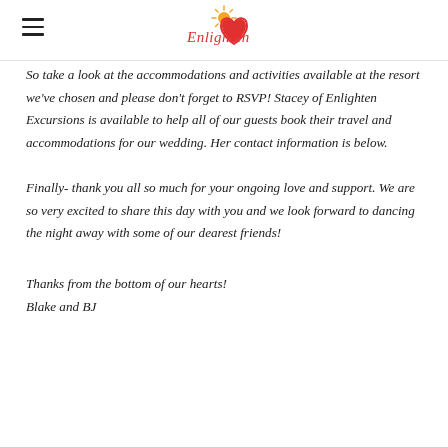Enlighten (logo)
So take a look at the accommodations and activities available at the resort we've chosen and please don't forget to RSVP!  Stacey of Enlighten Excursions is available to help all of our guests book their travel  and accommodations for our wedding.  Her contact information is below.
Finally- thank you all so much for your ongoing love and support. We are so very excited to share this day with you and we look forward to dancing the night away with some of our dearest friends!
Thanks from the bottom of our hearts!
Blake and BJ